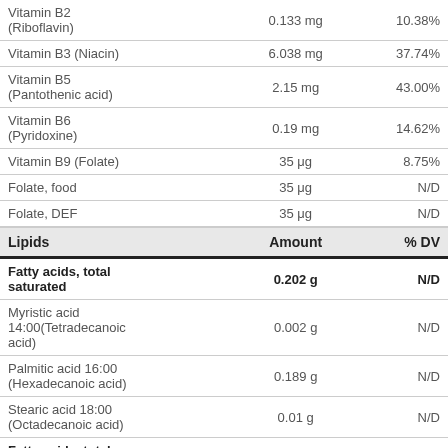|  | Amount | % DV |
| --- | --- | --- |
| Vitamin B2 (Riboflavin) | 0.133 mg | 10.38% |
| Vitamin B3 (Niacin) | 6.038 mg | 37.74% |
| Vitamin B5 (Pantothenic acid) | 2.15 mg | 43.00% |
| Vitamin B6 (Pyridoxine) | 0.19 mg | 14.62% |
| Vitamin B9 (Folate) | 35 μg | 8.75% |
| Folate, food | 35 μg | N/D |
| Folate, DEF | 35 μg | N/D |
| Lipids [header] | Amount | % DV |
| Fatty acids, total saturated | 0.202 g | N/D |
| Myristic acid 14:00(Tetradecanoic acid) | 0.002 g | N/D |
| Palmitic acid 16:00 (Hexadecanoic acid) | 0.189 g | N/D |
| Stearic acid 18:00 (Octadecanoic acid) | 0.01 g | N/D |
| Fatty acids, total monounsaturated | 0.154 g | N/D |
| Palmitoleic acid 16:1 | 0.003 g | N/D |